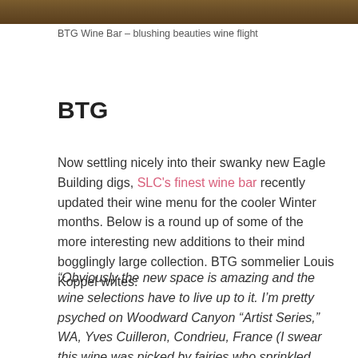[Figure (photo): Top portion of a photo showing BTG Wine Bar blushing beauties wine flight, warm brown and amber tones]
BTG Wine Bar – blushing beauties wine flight
BTG
Now settling nicely into their swanky new Eagle Building digs, SLC's finest wine bar recently updated their wine menu for the cooler Winter months. Below is a round up of some of the more interesting new additions to their mind bogglingly large collection. BTG sommelier Louis Koppel writes:
“Obviously the new space is amazing and the wine selections have to live up to it. I’m pretty psyched on Woodward Canyon “Artist Series,” WA, Yves Cuilleron, Condrieu, France (I swear this wine was picked by fairies who sprinkled something magical on the fruit...